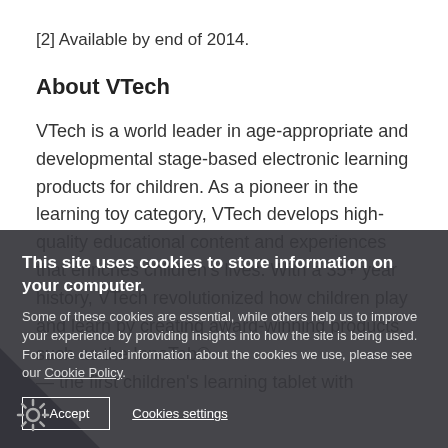[2] Available by end of 2014.
About VTech
VTech is a world leader in age-appropriate and developmental stage-based electronic learning products for children. As a pioneer in the learning toy category, VTech develops high-quality educational content and experiences that enriches children's lives. With a 35+ year history, VTech revolutionized how children play and learn by creating award-winning products, such as the InnoTab® — the first children's learning tablet with
This site uses cookies to store information on your computer. Some of these cookies are essential, while others help us to improve your experience by providing insights into how the site is being used. For more detailed information about the cookies we use, please see our Cookie Policy.
I Accept
Cookies settings